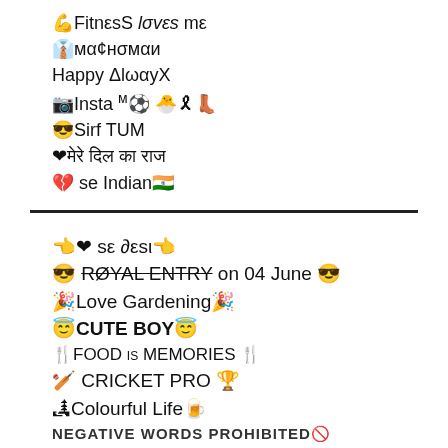💪FitnεsS lσvεs mε
👔мα¢нσмαи
Happy ΔlωαyX
📷Insta ᵐ⚽ 🐣🎗👢
😎Sirf TUM
❤मेरे दिल का राज
💔 se Indian🇮🇳
👈❤ sε ∂εsι👈
😎 RØYAL ENTRY on 04 June 😎
🎉Love Gardening🎉
😇CUTE BOY😇
🍴FOOD is MEMORIES🍴
🏏 CRICKET PRO 🏆
🏞Colourful Life🍺
NEGATIVE WORDS PROHIBITED🚫